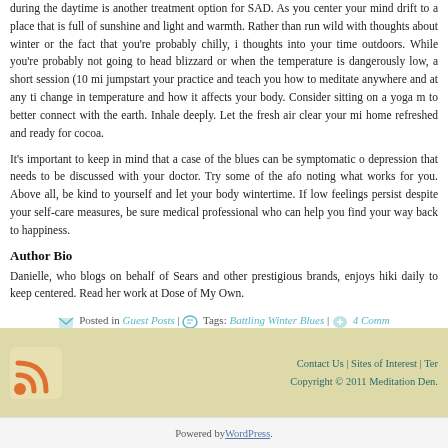during the daytime is another treatment option for SAD. As you center your mind drift to a place that is full of sunshine and light and warmth. Rather than run wild with thoughts about winter or the fact that you're probably chilly, i thoughts into your time outdoors. While you're probably not going to head blizzard or when the temperature is dangerously low, a short session (10 mi jumpstart your practice and teach you how to meditate anywhere and at any ti change in temperature and how it affects your body. Consider sitting on a yoga m to better connect with the earth. Inhale deeply. Let the fresh air clear your mi home refreshed and ready for cocoa.
It's important to keep in mind that a case of the blues can be symptomatic o depression that needs to be discussed with your doctor. Try some of the afo noting what works for you. Above all, be kind to yourself and let your body wintertime. If low feelings persist despite your self-care measures, be sure medical professional who can help you find your way back to happiness.
Author Bio
Danielle, who blogs on behalf of Sears and other prestigious brands, enjoys hiki daily to keep centered. Read her work at Dose of My Own.
Posted in Guest Posts | Tags: Battling Winter Blues | 4 Comm
« Older Entries
Contact Us | Sites of Interest | Ter Copyright © 2011 Meditation Den.
Powered by WordPress.